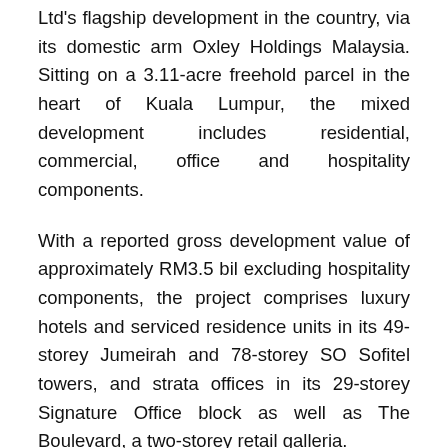Ltd's flagship development in the country, via its domestic arm Oxley Holdings Malaysia. Sitting on a 3.11-acre freehold parcel in the heart of Kuala Lumpur, the mixed development includes residential, commercial, office and hospitality components.
With a reported gross development value of approximately RM3.5 bil excluding hospitality components, the project comprises luxury hotels and serviced residence units in its 49-storey Jumeirah and 78-storey SO Sofitel towers, and strata offices in its 29-storey Signature Office block as well as The Boulevard, a two-storey retail galleria.
The prime appeal of Oxley Towers lies in its prestigious location on Jalan Ampang, less than 300m away from… read more